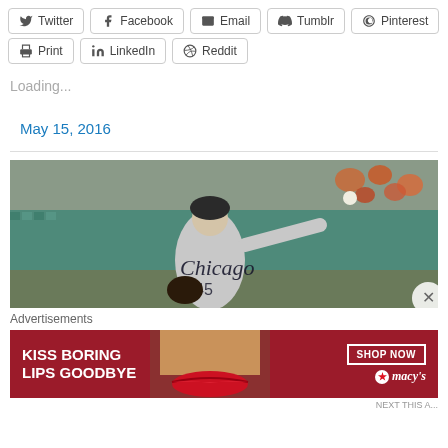Twitter
Facebook
Email
Tumblr
Pinterest
Print
LinkedIn
Reddit
Loading...
May 15, 2016
[Figure (photo): Chicago White Sox pitcher in gray uniform delivering a pitch, mid-throw stance, at a baseball stadium with teal seats and spectators in orange and white in the background]
Advertisements
[Figure (photo): Macy's advertisement banner with dark red background reading 'KISS BORING LIPS GOODBYE' with a woman's face and lips visible, and 'SHOP NOW' button with Macy's star logo]